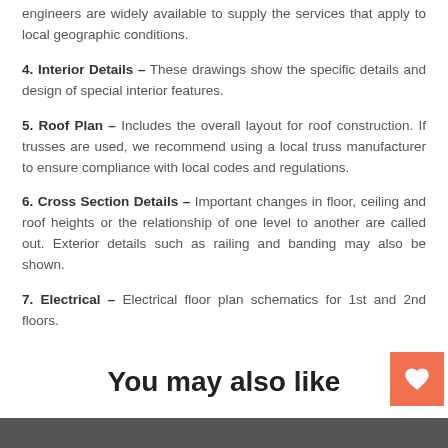engineers are widely available to supply the services that apply to local geographic conditions.
4. Interior Details – These drawings show the specific details and design of special interior features.
5. Roof Plan – Includes the overall layout for roof construction. If trusses are used, we recommend using a local truss manufacturer to ensure compliance with local codes and regulations.
6. Cross Section Details – Important changes in floor, ceiling and roof heights or the relationship of one level to another are called out. Exterior details such as railing and banding may also be shown.
7. Electrical – Electrical floor plan schematics for 1st and 2nd floors.
You may also like